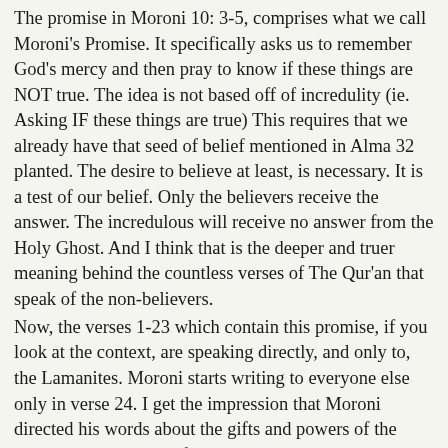The promise in Moroni 10: 3-5, comprises what we call Moroni's Promise. It specifically asks us to remember God's mercy and then pray to know if these things are NOT true. The idea is not based off of incredulity (ie. Asking IF these things are true) This requires that we already have that seed of belief mentioned in Alma 32 planted. The desire to believe at least, is necessary. It is a test of our belief. Only the believers receive the answer. The incredulous will receive no answer from the Holy Ghost. And I think that is the deeper and truer meaning behind the countless verses of The Qur'an that speak of the non-believers.
Now, the verses 1-23 which contain this promise, if you look at the context, are speaking directly, and only to, the Lamanites. Moroni starts writing to everyone else only in verse 24. I get the impression that Moroni directed his words about the gifts and powers of the Holy Ghost and about faith, hope and charity, only to the Lamanites because he knew that the majority of